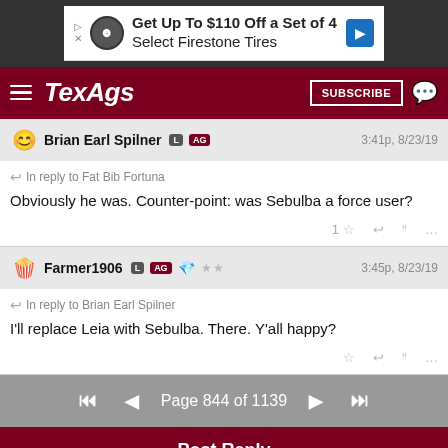[Figure (screenshot): Advertisement banner: Get Up To $110 Off a Set of 4 Select Firestone Tires]
TexAgs | SUBSCRIBE
Brian Earl Spilner L AG | 3:41p, 8/23/19
In reply to Fat Bib Fortuna
Obviously he was. Counter-point: was Sebulba a force user?
Farmer1906 L AG ★★ | 3:45p, 8/23/19
In reply to Brian Earl Spilner
I'll replace Leia with Sebulba. There. Y'all happy?
Page 844 of 1139
Post Reply
Forums  Entertainment
[Figure (screenshot): Bottom advertisement strip showing sports scores with Live InProgress indicator]